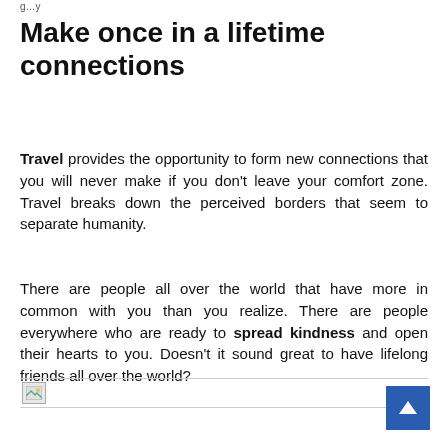g…y
Make once in a lifetime connections
Travel provides the opportunity to form new connections that you will never make if you don't leave your comfort zone. Travel breaks down the perceived borders that seem to separate humanity.
There are people all over the world that have more in common with you than you realize. There are people everywhere who are ready to spread kindness and open their hearts to you. Doesn't it sound great to have lifelong friends all over the world?
[Figure (photo): Broken/placeholder image icon at bottom of page with horizontal rule above and below]